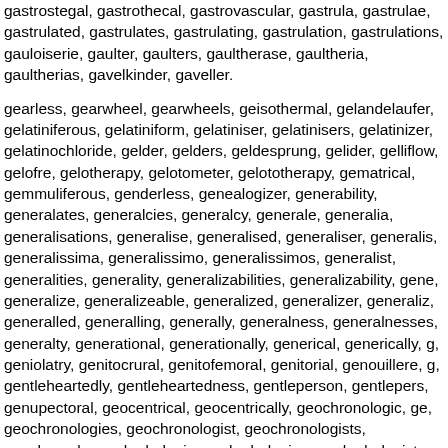gastrostegal, gastrothecal, gastrovascular, gastrula, gastrulae, gastrulated, gastrulates, gastrulating, gastrulation, gastrulations, gauloiserie, gaulter, gaulters, gaultherase, gaultheria, gaultherias, gavelkinder, gaveller.
gearless, gearwheel, gearwheels, geisothermal, gelandelaufer, gelatiniferous, gelatiniform, gelatiniser, gelatinisers, gelatinizer, gelatinochloride, gelder, gelders, geldesprung, gelider, gelliflow, gelofre, gelotherapy, gelotometer, gelototherapy, gematrical, gemmuliferous, genderless, genealogizer, generability, generalates, generalcies, generalcy, generale, generalia, generalisations, generalise, generalised, generaliser, generalissima, generalissimo, generalissimos, generalist, generalities, generality, generalizabilities, generalizability, generalize, generalizeable, generalized, generalizer, generaliz, generalled, generalling, generally, generalness, generalnesses, generalty, generational, generationally, generical, generically, geniolatry, genitocrural, genitofemoral, genitorial, genouillere, gentleheartedly, gentleheartedness, gentleperson, gentlepers, genupectoral, geocentrical, geocentrically, geochronologic, geochronologies, geochronologist, geochronologists, geochronolo, geohydrologic, geohydrologies, geohydrologist, geohydrolo, geologer, geologers, geometrical, geometrically, geomorpholo, geomorphologies, geomorphologist, geomorphologists, geomd, geoplagiotropism, geopolar, georgical, geostrategical, geostro, geotropically, gephyrocercal, gerald, geranial, geranials, gera